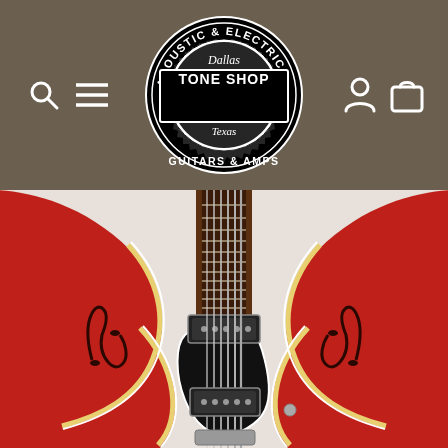[Figure (logo): Tone Shop Dallas Texas Acoustic & Electric Guitars & Amps circular logo in black and white]
[Figure (photo): Close-up photo of a red semi-hollow body electric guitar (similar to Gibson ES-335) showing the body, f-holes, pickups, strings, pickguard, and part of the fretboard]